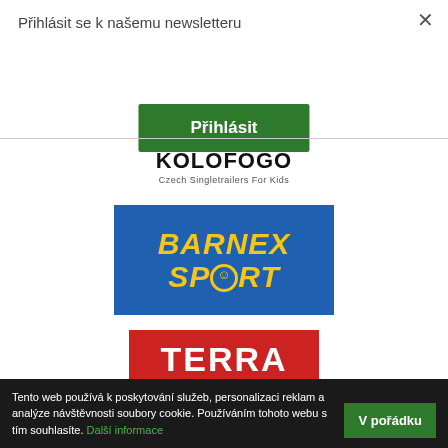Přihlásit se k našemu newsletteru
×
Přihlásit
[Figure (logo): KOLOFOGO logo with tagline 'Czech Singletrailers For Kids']
[Figure (logo): BARNEX SPORT logo — yellow bold italic text on blue background with smiley face in the O]
[Figure (logo): TERRA logo — white bold text on red background]
Tento web používá k poskytování služeb, personalizaci reklam a analýze návštěvnosti soubory cookie. Používáním tohoto webu s tím souhlasíte. Další informace   V pořádku